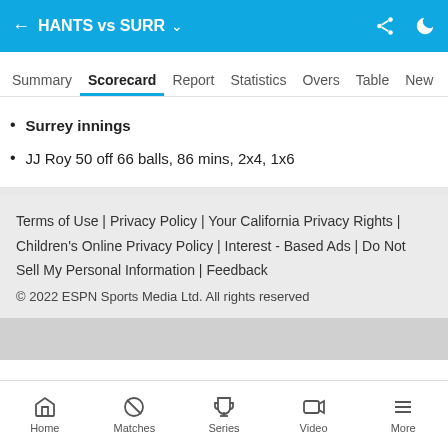HANTS vs SURR
Summary  Scorecard  Report  Statistics  Overs  Table  New
Surrey innings
JJ Roy 50 off 66 balls, 86 mins, 2x4, 1x6
Terms of Use | Privacy Policy | Your California Privacy Rights | Children's Online Privacy Policy | Interest - Based Ads | Do Not Sell My Personal Information | Feedback
© 2022 ESPN Sports Media Ltd. All rights reserved
Home  Matches  Series  Video  More